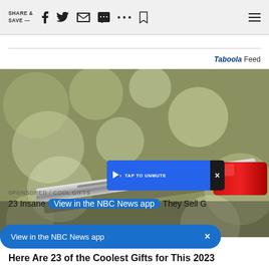SHARE & SAVE —
Taboola Feed
[Figure (photo): Close-up photo of a metal rifle barrel with a red safety cap/plug on the end, against a blurred green bokeh background. A small metallic bead/stud is visible on top of the barrel.]
TAP TO UNMUTE
View in the NBC News app  ×
SPONSORED / COOL GIFTS
23 Insane They Sell G
Here Are 23 of the Coolest Gifts for This 2023